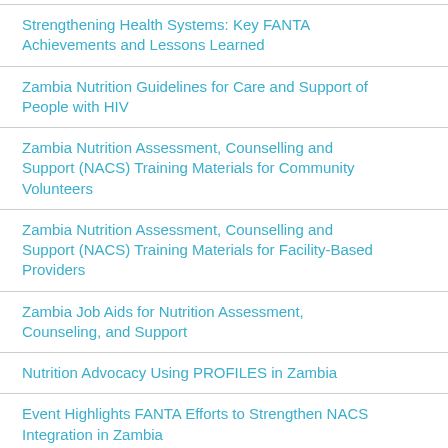Strengthening Health Systems: Key FANTA Achievements and Lessons Learned
Zambia Nutrition Guidelines for Care and Support of People with HIV
Zambia Nutrition Assessment, Counselling and Support (NACS) Training Materials for Community Volunteers
Zambia Nutrition Assessment, Counselling and Support (NACS) Training Materials for Facility-Based Providers
Zambia Job Aids for Nutrition Assessment, Counseling, and Support
Nutrition Advocacy Using PROFILES in Zambia
Event Highlights FANTA Efforts to Strengthen NACS Integration in Zambia
Operationalizing Nutrition Assessment, Counseling, and Support (NACS) Guidance In Zambia: A Report on